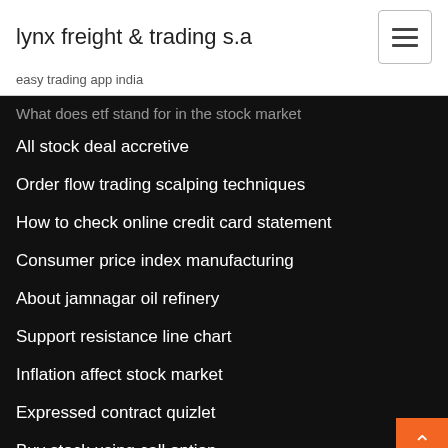lynx freight & trading s.a
easy trading app india
What does etf stand for in the stock market
All stock deal accretive
Order flow trading scalping techniques
How to check online credit card statement
Consumer price index manufacturing
About jamnagar oil refinery
Support resistance line chart
Inflation affect stock market
Expressed contract quizlet
Buy stock using call option
Employee stock purchase plan